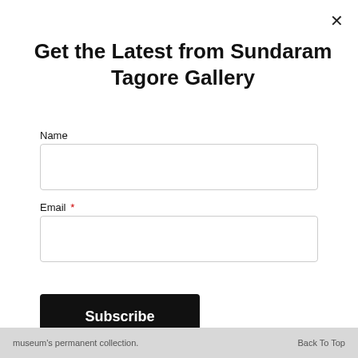Get the Latest from Sundaram Tagore Gallery
Name
Email *
Subscribe
museum's permanent collection.    Back To Top